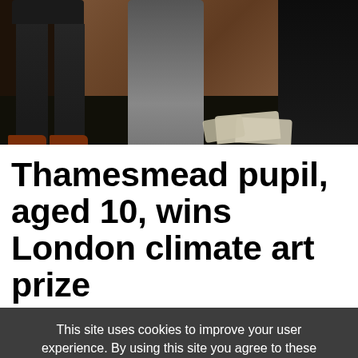[Figure (photo): A photograph showing several people standing indoors. On the left, a person is wearing dark clothing with brown shoes visible. In the center, a person in a grey/dark coat stands in front of a worn brick wall background. On the right, a person in dark clothing. White fabric bags or items are scattered on a dark floor between them.]
Thamesmead pupil, aged 10, wins London climate art prize
This site uses cookies to improve your user experience. By using this site you agree to these cookies being set. To find out more see our cookies policy
OK, hide this message